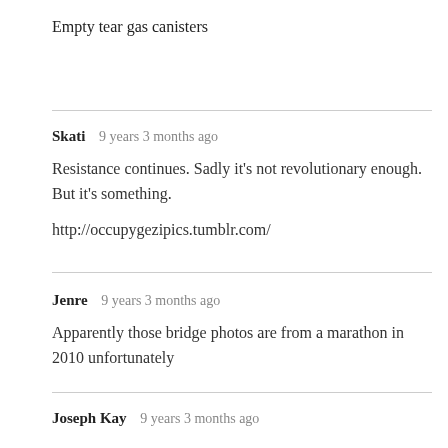Empty tear gas canisters
Skati  9 years 3 months ago
Resistance continues. Sadly it's not revolutionary enough. But it's something.
http://occupygezipics.tumblr.com/
Jenre  9 years 3 months ago
Apparently those bridge photos are from a marathon in 2010 unfortunately
Joseph Kay  9 years 3 months ago